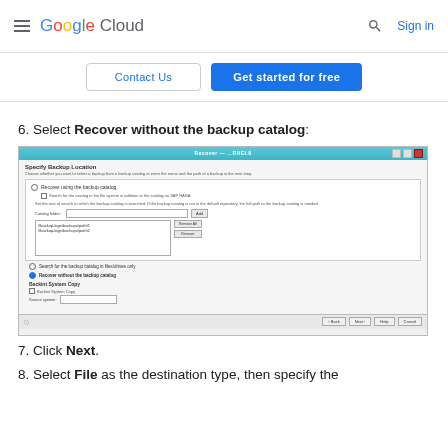Google Cloud  Sign in
Contact Us   Get started for free
6. Select Recover without the backup catalog:
[Figure (screenshot): Screenshot of a dialog box titled 'Specify Backup Location' showing options for recovery including 'Recover using the backup catalog', 'Search for the backup catalog in files/system', a list box with backup entries, and the selected option 'Recover without the backup catalog' with Backint System Copy section. Navigation buttons Back, Next, Help, Cancel at bottom.]
7. Click Next.
8. Select File as the destination type, then specify the